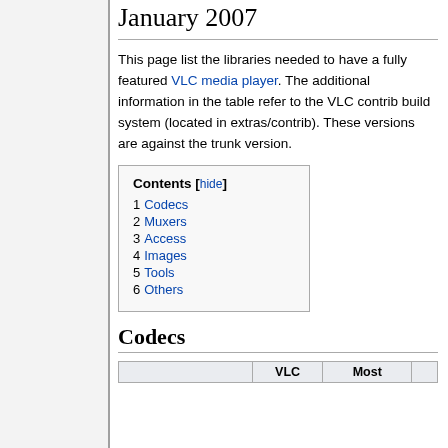January 2007
This page list the libraries needed to have a fully featured VLC media player. The additional information in the table refer to the VLC contrib build system (located in extras/contrib). These versions are against the trunk version.
| Contents | [hide] |
| --- | --- |
| 1 | Codecs |
| 2 | Muxers |
| 3 | Access |
| 4 | Images |
| 5 | Tools |
| 6 | Others |
Codecs
|  | VLC | Most |
| --- | --- | --- |